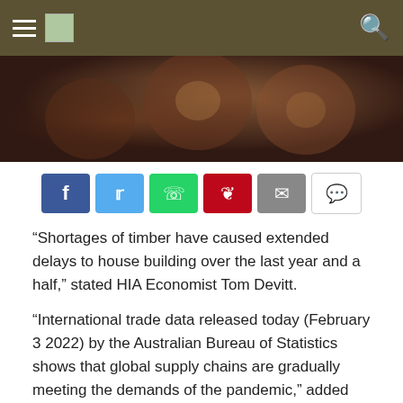Navigation bar with hamburger menu, logo, and search icon
[Figure (photo): Close-up blurred photo of timber/wood logs]
[Figure (infographic): Social sharing buttons: Facebook, Twitter, WhatsApp, Pinterest, Email, Comment]
“Shortages of timber have caused extended delays to house building over the last year and a half,” stated HIA Economist Tom Devitt.
“International trade data released today (February 3 2022) by the Australian Bureau of Statistics shows that global supply chains are gradually meeting the demands of the pandemic,” added Mr Devitt.
“In the final quarter of 2021, the value of select wood imports reached their highest levels...